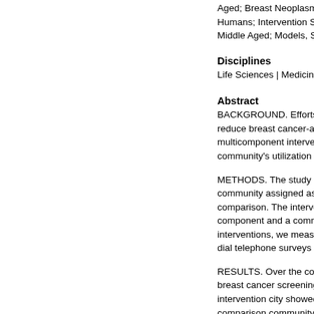Aged; Breast Neoplasms; Co... Humans; Intervention Studies; Middle Aged; Models, Statist...
Disciplines
Life Sciences | Medicine and
Abstract
BACKGROUND. Efforts to det... reduce breast cancer-associ... multicomponent intervention... community's utilization of br...
METHODS. The study used a... community assigned as the i... comparison. The interventio... component and a communit... interventions, we measured... dial telephone surveys at thr...
RESULTS. Over the course of... breast cancer screening par... intervention city showed mo... comparison community in th... midpoint. These included ind... increased awareness that sc...